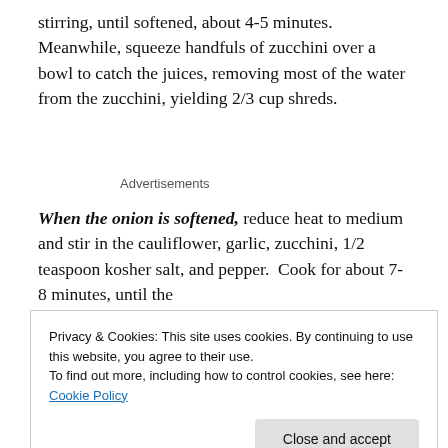stirring, until softened, about 4-5 minutes.  Meanwhile, squeeze handfuls of zucchini over a bowl to catch the juices, removing most of the water from the zucchini, yielding 2/3 cup shreds.
Advertisements
When the onion is softened, reduce heat to medium and stir in the cauliflower, garlic, zucchini, 1/2 teaspoon kosher salt, and pepper.  Cook for about 7-8 minutes, until the
Privacy & Cookies: This site uses cookies. By continuing to use this website, you agree to their use.
To find out more, including how to control cookies, see here: Cookie Policy
[Close and accept]